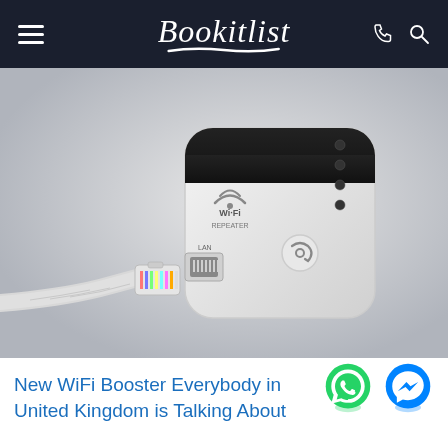Bookitlist
[Figure (photo): A white WiFi repeater/booster device with a black LED indicator strip and LAN port, alongside a disconnected RJ45 ethernet cable]
New WiFi Booster Everybody in United Kingdom is Talking About